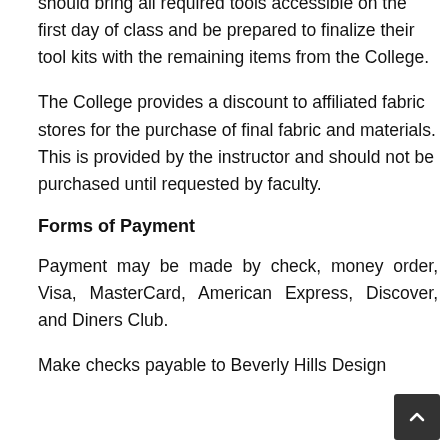should bring all required tools accessible on the first day of class and be prepared to finalize their tool kits with the remaining items from the College.
The College provides a discount to affiliated fabric stores for the purchase of final fabric and materials. This is provided by the instructor and should not be purchased until requested by faculty.
Forms of Payment
Payment may be made by check, money order, Visa, MasterCard, American Express, Discover, and Diners Club.
Make checks payable to Beverly Hills Design